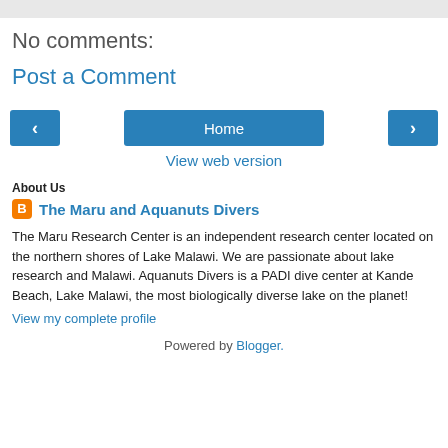No comments:
Post a Comment
[Figure (other): Navigation buttons: left arrow, Home, right arrow]
View web version
About Us
The Maru and Aquanuts Divers
The Maru Research Center is an independent research center located on the northern shores of Lake Malawi. We are passionate about lake research and Malawi. Aquanuts Divers is a PADI dive center at Kande Beach, Lake Malawi, the most biologically diverse lake on the planet!
View my complete profile
Powered by Blogger.